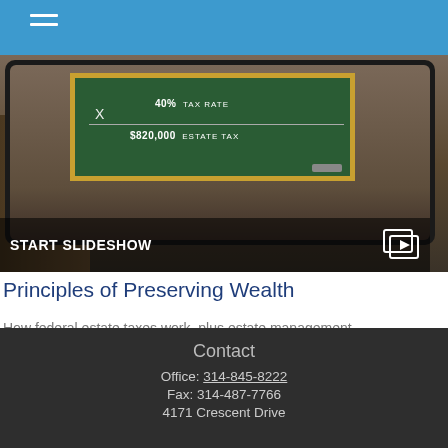[Figure (screenshot): Screenshot of a tablet showing a chalkboard with text: X, 40% TAX RATE, $820,000 ESTATE TAX. A 'START SLIDESHOW' label and play icon appear at the bottom of the image.]
Principles of Preserving Wealth
How federal estate taxes work, plus estate management documents and tactics.
Contact
Office: 314-845-8222
Fax: 314-487-7766
4171 Crescent Drive